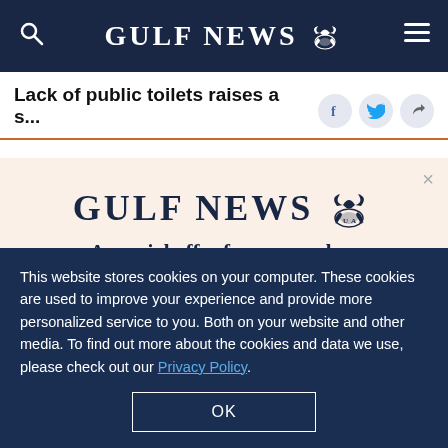GULF NEWS
Lack of public toilets raises a s...
Yes, I faced the problem of not being able to find a
[Figure (logo): Gulf News logo with eagle emblem - modal subscription overlay with text: A special offer for our readers. Get the two years All-Access subscription now]
This website stores cookies on your computer. These cookies are used to improve your experience and provide more personalized service to you. Both on your website and other media. To find out more about the cookies and data we use, please check out our Privacy Policy.
OK